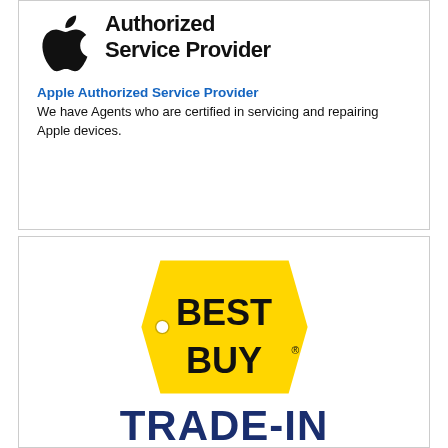[Figure (logo): Apple Authorized Service Provider logo with Apple logo icon and 'Authorized Service Provider' text]
Apple Authorized Service Provider
We have Agents who are certified in servicing and repairing Apple devices.
[Figure (logo): Best Buy price tag logo in yellow and black, with 'TRADE-IN' text below in dark navy blue]